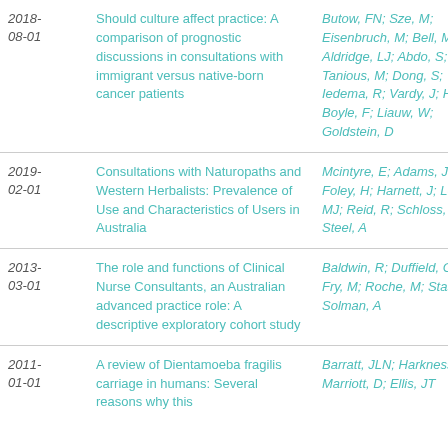| Date | Title | Authors |
| --- | --- | --- |
| 2018-08-01 | Should culture affect practice: A comparison of prognostic discussions in consultations with immigrant versus native-born cancer patients | Butow, FN; Sze, M; Eisenbruch, M; Bell, ML; Aldridge, LJ; Abdo, S; Tanious, M; Dong, S; Iedema, R; Vardy, J; Hui, R; Boyle, F; Liauw, W; Goldstein, D |
| 2019-02-01 | Consultations with Naturopaths and Western Herbalists: Prevalence of Use and Characteristics of Users in Australia | Mcintyre, E; Adams, J; Foley, H; Harnett, J; Leach, MJ; Reid, R; Schloss, J; Steel, A |
| 2013-03-01 | The role and functions of Clinical Nurse Consultants, an Australian advanced practice role: A descriptive exploratory cohort study | Baldwin, R; Duffield, CM; Fry, M; Roche, M; Stasa, H; Solman, A |
| 2011-01-01 | A review of Dientamoeba fragilis carriage in humans: Several reasons why this organism... | Barratt, JLN; Harkness, J; Marriott, D; Ellis, JT |